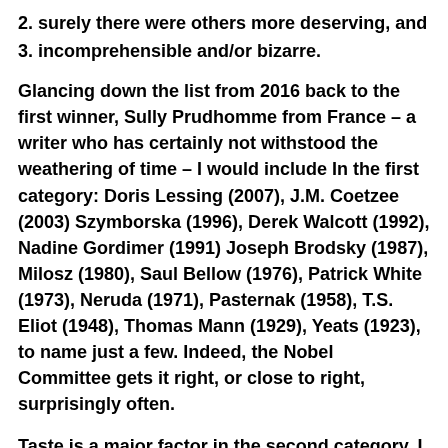2. surely there were others more deserving, and
3. incomprehensible and/or bizarre.
Glancing down the list from 2016 back to the first winner, Sully Prudhomme from France – a writer who has certainly not withstood the weathering of time – I would include In the first category: Doris Lessing (2007), J.M. Coetzee (2003) Szymborska (1996), Derek Walcott (1992), Nadine Gordimer (1991) Joseph Brodsky (1987), Milosz (1980), Saul Bellow (1976), Patrick White (1973), Neruda (1971), Pasternak (1958), T.S. Eliot (1948), Thomas Mann (1929), Yeats (1923), to name just a few. Indeed, the Nobel Committee gets it right, or close to right, surprisingly often.
Taste is a major factor in the second category. I am not drawn to the work of Hemingway (1954), Alice Munro